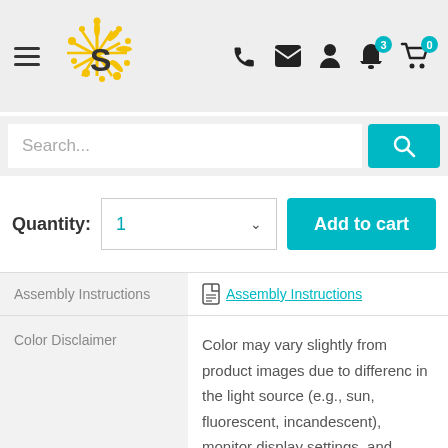[Figure (logo): Sunburst/star logo with letter S, yellow/gold color]
[Figure (infographic): Navigation icons: phone, envelope, person, bell with badge 3, shopping cart with badge 0]
Search...
Quantity:  1  Add to cart
| Assembly Instructions | Assembly Instructions (link with PDF icon) |
| Color Disclaimer | Color may vary slightly from product images due to differences in the light source (e.g., sun, fluorescent, incandescent), monitor display settings, and individual perception |
|  | Wipe down surfaces with clean |